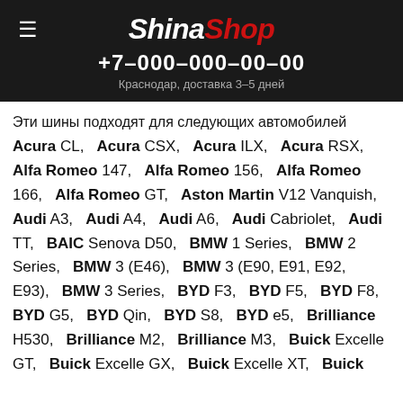ShinaShop +7-000-000-00-00 Краснодар, доставка 3–5 дней
Эти шины подходят для следующих автомобилей Acura CL, Acura CSX, Acura ILX, Acura RSX, Alfa Romeo 147, Alfa Romeo 156, Alfa Romeo 166, Alfa Romeo GT, Aston Martin V12 Vanquish, Audi A3, Audi A4, Audi A6, Audi Cabriolet, Audi TT, BAIC Senova D50, BMW 1 Series, BMW 2 Series, BMW 3 (E46), BMW 3 (E90, E91, E92, E93), BMW 3 Series, BYD F3, BYD F5, BYD F8, BYD G5, BYD Qin, BYD S8, BYD e5, Brilliance H530, Brilliance M2, Brilliance M3, Buick Excelle GT, Buick Excelle GX, Buick Excelle XT, Buick Verano, Buick Verano GS, Changan CS15, Changan CS15EV, Changan Eado, Changan Linmax, Chery A3, Chery Arrizo 5e, Chery Arrizo 5x, Chery Arrizo 7e, Chery Arrizo...